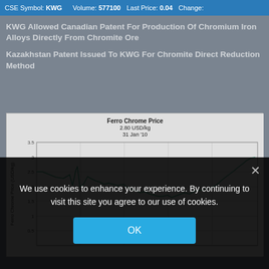CSE Symbol: KWG   Volume: 577100   Last Price: 0.04   Change:
KWG Allowed Canadian Patent For Production Of Chromium Iron Alloys Directly From Chromite Ore
Kazakhstan Patent Issued To KWG For Chromite Direct Reduction Method
[Figure (continuous-plot): Line chart showing Ferro Chrome Price in USD/kg over time. Price starts around 2.5, dips to about 2.0, rises to 2.6, falls back to about 1.9, then rises sharply to nearly 3.0 by Jan 2010.]
We use cookies to enhance your experience. By continuing to visit this site you agree to our use of cookies.
OK